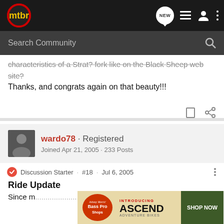mtbr - navigation bar with search
characteristics of a Strat? fork like on the Black Sheep web site?
Thanks, and congrats again on that beauty!!!
wardo78 · Registered
Joined Apr 21, 2005 · 233 Posts
Discussion Starter · #18 · Jul 6, 2005
Ride Update
Since m... week
[Figure (screenshot): Bass Pro Shops advertisement for Ascend Adventure Bikes with Shop Now button]